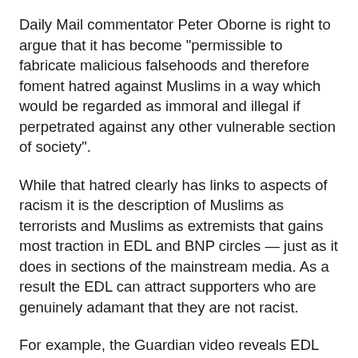Daily Mail commentator Peter Oborne is right to argue that it has become "permissible to fabricate malicious falsehoods and therefore foment hatred against Muslims in a way which would be regarded as immoral and illegal if perpetrated against any other vulnerable section of society".
While that hatred clearly has links to aspects of racism it is the description of Muslims as terrorists and Muslims as extremists that gains most traction in EDL and BNP circles — just as it does in sections of the mainstream media. As a result the EDL can attract supporters who are genuinely adamant that they are not racist.
For example, the Guardian video reveals EDL leader Guramit Singh, a Sikh, repeating the claim made by mainstream journalist Andrew Gilligan that Islamic Forum Europe and the East London Mosque represent a hub of Islamist extremism that runs counter to British democracy and security. For Singh that makes Tower Hamlets, Britain's largest Muslim community, a target for future EDL demonstrations and campaigns. For Tower Hamlets residents old enough to remember the violence that